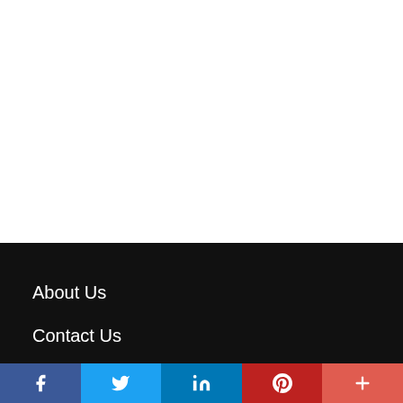About Us
Contact Us
[Figure (infographic): Social media share bar with Facebook, Twitter, LinkedIn, Pinterest, and More buttons]